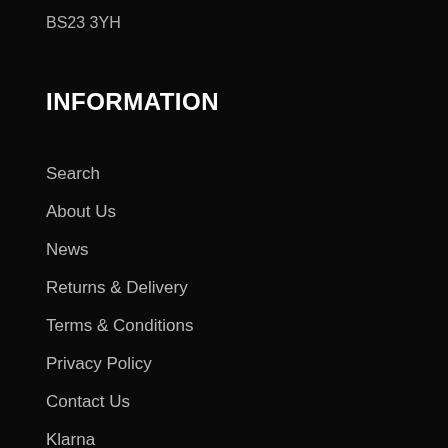BS23 3YH
INFORMATION
Search
About Us
News
Returns & Delivery
Terms & Conditions
Privacy Policy
Contact Us
Klarna
Terms of Service
Refund policy